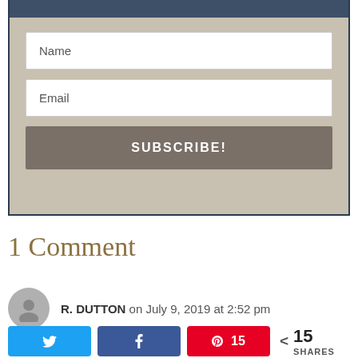[Figure (screenshot): Subscription form widget with Name and Email input fields and a SUBSCRIBE! button, on a beige/tan background with a dark blue top bar]
1 Comment
R. DUTTON on July 9, 2019 at 2:52 pm
Share bar with Twitter, Facebook, Pinterest buttons and 15 SHARES count